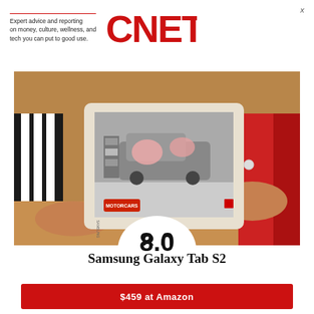Expert advice and reporting on money, culture, wellness, and tech you can put to good use. CNET
[Figure (photo): Person in red dress holding a Samsung Galaxy Tab S2 tablet showing a car crash test video from MotorCars. The tablet has a white/silver bezel. Background shows a striped rug and wooden furniture.]
8.0
Samsung Galaxy Tab S2
$459 at Amazon